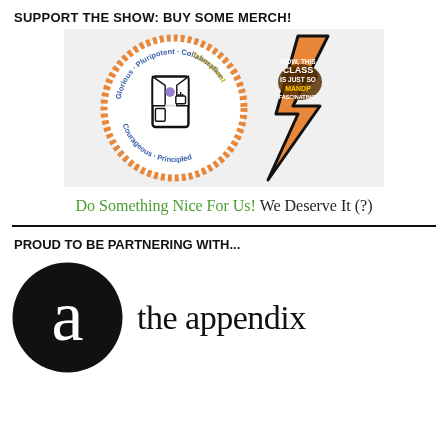SUPPORT THE SHOW: BUY SOME MERCH!
[Figure (illustration): Two merchandise items: a circular sticker with a lab coat illustration surrounded by the words Glorious, Pluripotent, Collaborative, Triumphant, Courageous, Principled in blue/gold text on an orange dotted border; and an orange lightning bolt badge with a brain graphic and the text 'WOW, THIS CLASS IS JUST SO MANDPANATING FASCINATING!']
Do Something Nice For Us! We Deserve It (?)
PROUD TO BE PARTNERING WITH...
[Figure (logo): The Appendix logo: a large black circle with a white letter 'a' inside, next to the text 'the appendix' in a serif font]